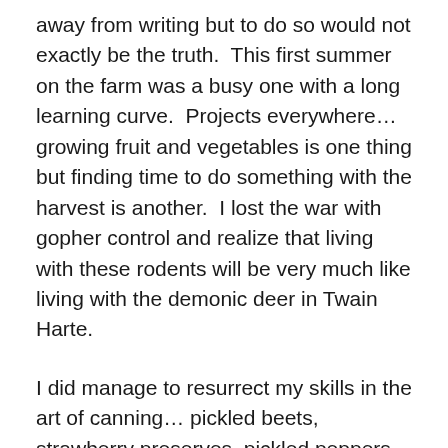away from writing but to do so would not exactly be the truth.  This first summer on the farm was a busy one with a long learning curve.  Projects everywhere… growing fruit and vegetables is one thing but finding time to do something with the harvest is another.  I lost the war with gopher control and realize that living with these rodents will be very much like living with the demonic deer in Twain Harte.
I did manage to resurrect my skills in the art of canning… pickled beets, strawberry preserves, pickled peppers, and tomato sauce.  During the long winter, all of these will be reminders of the glorious feeling of warm sun on my back and the joy of walking into the garden each morning to see what had ripened overnight.  What I've learned is that overplanting can be intimidating when one only has a limited amount of time to deal with a prolific crop.  How